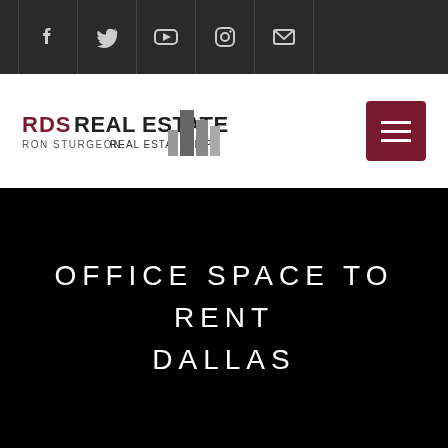Social media icons bar: Facebook, Twitter, YouTube, Instagram, Email
[Figure (logo): RDS Real Estate logo — text reading 'RDS REAL ESTATE / RON STURGEON REAL ESTATE, L.P.' with a grey building silhouette icon]
OFFICE SPACE TO RENT DALLAS